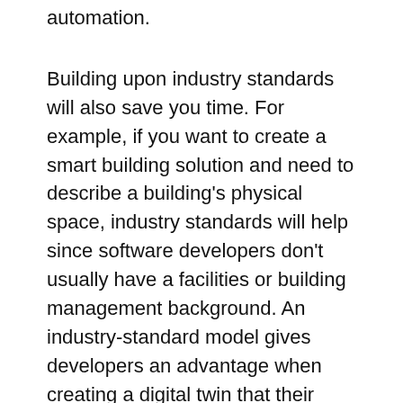automatic back-up and built-in deployment automation.
Building upon industry standards will also save you time. For example, if you want to create a smart building solution and need to describe a building's physical space, industry standards will help since software developers don't usually have a facilities or building management background. An industry-standard model gives developers an advantage when creating a digital twin that their clients can understand and use.
Data-driven solution